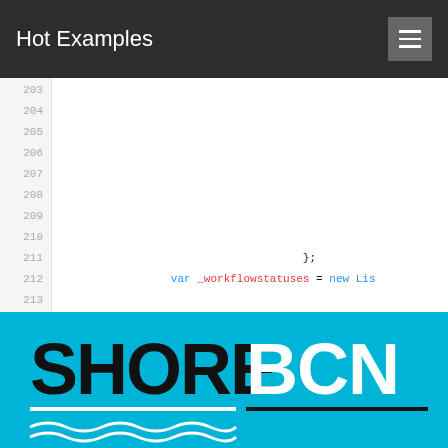Hot Examples
203 204 205 206 207 208 209 210 211 }; 212 var _workflowstatuses = new Lis 213 214 215 216 217
[Figure (logo): SHORE BCN logo on cyan/blue background with wave decoration]